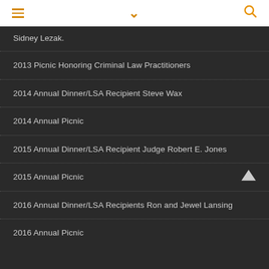≡ ∨ 🔍
Sidney Lezak.
2013 Picnic Honoring Criminal Law Practitioners
2014 Annual Dinner/LSA Recipient Steve Wax
2014 Annual Picnic
2015 Annual Dinner/LSA Recipient Judge Robert E. Jones
2015 Annual Picnic
2016 Annual Dinner/LSA Recipients Ron and Jewel Lansing
2016 Annual Picnic